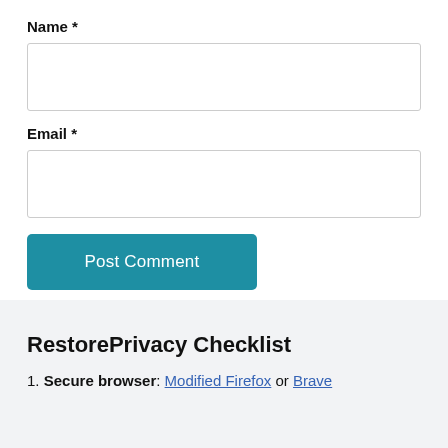Name *
Email *
Post Comment
RestorePrivacy Checklist
1. Secure browser: Modified Firefox or Brave